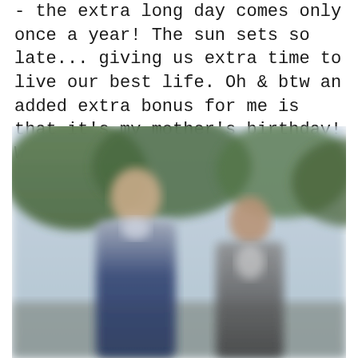- the extra long day comes only once a year!  The sun sets so late... giving us extra time to live our best life. Oh & btw an added extra bonus for me is that it's my mother's birthday!  What a cool day to celebrate!
[Figure (photo): Blurred outdoor photo of two people standing together — a taller person on the left in a dark blue blazer and light shirt, and a shorter person on the right, with trees and sky visible in the background.]